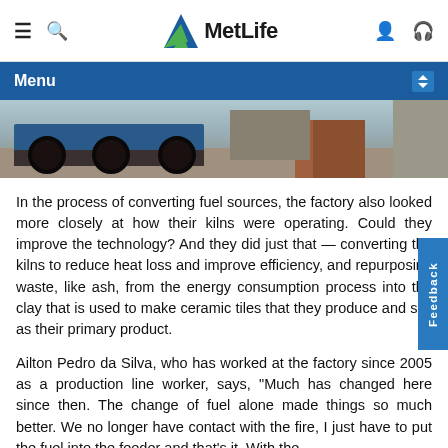MetLife navigation bar with menu, search, logo, user and headset icons
Menu
[Figure (photo): Photograph of a factory cart with wheels, blue tarp, and ceramic tiles stacked outside a factory building]
In the process of converting fuel sources, the factory also looked more closely at how their kilns were operating. Could they improve the technology? And they did just that — converting the kilns to reduce heat loss and improve efficiency, and repurposing waste, like ash, from the energy consumption process into the clay that is used to make ceramic tiles that they produce and sell as their primary product.
Ailton Pedro da Silva, who has worked at the factory since 2005 as a production line worker, says, "Much has changed here since then. The change of fuel alone made things so much better. We no longer have contact with the fire, I just have to put the fuel into the feeder and that's it. With the